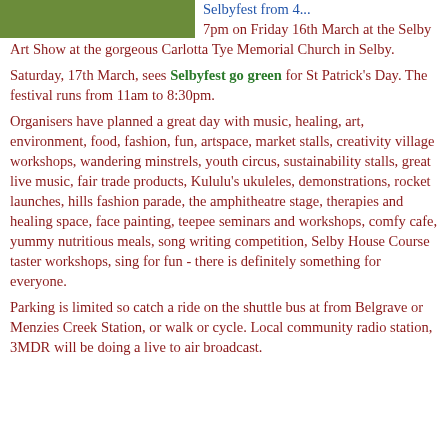[Figure (photo): Outdoor scene photo strip at top left]
Selbyfest from 4... 7pm on Friday 16th March at the Selby Art Show at the gorgeous Carlotta Tye Memorial Church in Selby.
Saturday, 17th March, sees Selbyfest go green for St Patrick's Day. The festival runs from 11am to 8:30pm.
Organisers have planned a great day with music, healing, art, environment, food, fashion, fun, artspace, market stalls, creativity village workshops, wandering minstrels, youth circus, sustainability stalls, great live music, fair trade products, Kululu's ukuleles, demonstrations, rocket launches, hills fashion parade, the amphitheatre stage, therapies and healing space, face painting, teepee seminars and workshops, comfy cafe, yummy nutritious meals, song writing competition, Selby House Course taster workshops, sing for fun - there is definitely something for everyone.
Parking is limited so catch a ride on the shuttle bus at from Belgrave or Menzies Creek Station, or walk or cycle. Local community radio station, 3MDR will be doing a live to air broadcast.